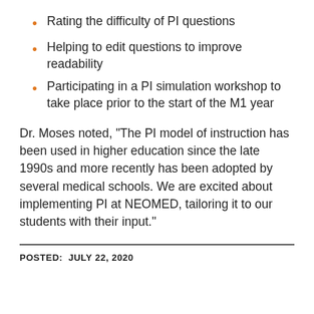Rating the difficulty of PI questions
Helping to edit questions to improve readability
Participating in a PI simulation workshop to take place prior to the start of the M1 year
Dr. Moses noted, “The PI model of instruction has been used in higher education since the late 1990s and more recently has been adopted by several medical schools. We are excited about implementing PI at NEOMED, tailoring it to our students with their input.”
POSTED:  JULY 22, 2020